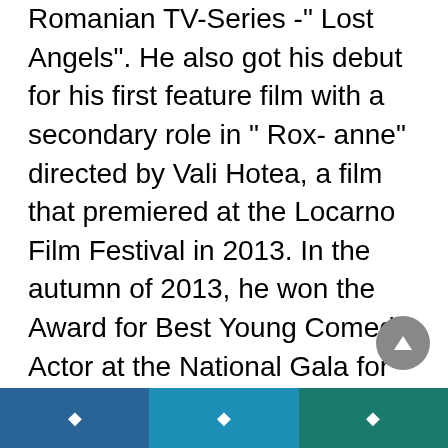Romanian TV-Series -" Lost Angels". He also got his debut for his first feature film with a secondary role in " Rox- anne" directed by Vali Hotea, a film that premiered at the Locarno Film Festival in 2013. In the autumn of 2013, he won the Award for Best Young Comedy Actor at the National Gala for Young Talent “Gala Hop” 2013, a well-known Romanian Theatre Gala. In 2014 he was named one the 20 young European actors to watch at Subtitle Film Festival. He also got involved in Film and Theatre Production, as he produced two short films and co-produced numerous plays in the independent theatre. He began writing for film, completing first feature film script: Marona’s
◆ ◆ ◆